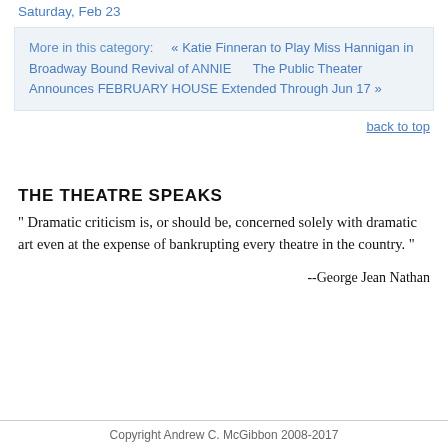Saturday, Feb 23
More in this category:   « Katie Finneran to Play Miss Hannigan in Broadway Bound Revival of ANNIE      The Public Theater Announces FEBRUARY HOUSE Extended Through Jun 17 »
back to top
THE THEATRE SPEAKS
" Dramatic criticism is, or should be, concerned solely with dramatic art even at the expense of bankrupting every theatre in the country. "
--George Jean Nathan
Copyright Andrew C. McGibbon 2008-2017